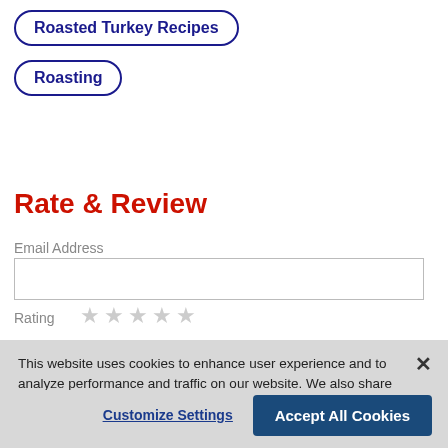Roasted Turkey Recipes
Roasting
Rate & Review
Email Address
Rating ☆ ☆ ☆ ☆ ☆
This website uses cookies to enhance user experience and to analyze performance and traffic on our website. We also share information about your use of our site with our social media, advertising and analytics partners. Link to Cookie Policy
Customize Settings
Accept All Cookies